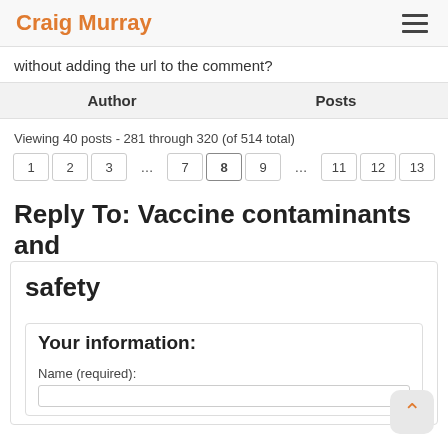Craig Murray
without adding the url to the comment?
| Author | Posts |
| --- | --- |
Viewing 40 posts - 281 through 320 (of 514 total)
← 1 2 3 … 7 8 9 … 11 12 13 →
Reply To: Vaccine contaminants and safety
Your information:
Name (required):